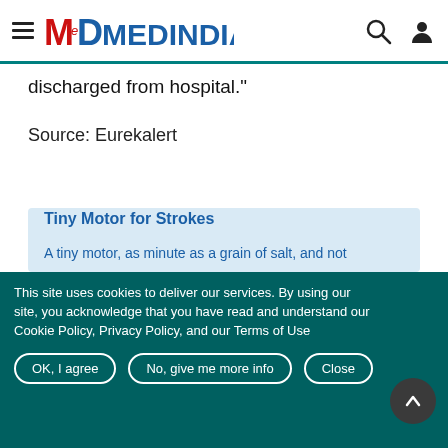MEDINDIA
discharged from hospital."
Source: Eurekalert
[Figure (other): Related article card with light blue background, titled 'Tiny Motor for Strokes' with description 'A tiny motor, as minute as a grain of salt, and not']
This site uses cookies to deliver our services. By using our site, you acknowledge that you have read and understand our Cookie Policy, Privacy Policy, and our Terms of Use